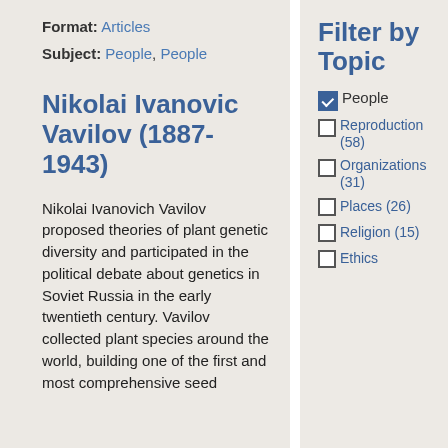Format: Articles
Subject: People, People
Nikolai Ivanovic Vavilov (1887-1943)
Nikolai Ivanovich Vavilov proposed theories of plant genetic diversity and participated in the political debate about genetics in Soviet Russia in the early twentieth century. Vavilov collected plant species around the world, building one of the first and most comprehensive seed
Filter by Topic
People [checked]
Reproduction (58)
Organizations (31)
Places (26)
Religion (15)
Ethics